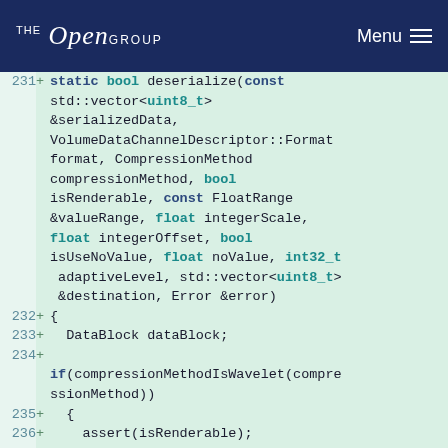The Open Group — Menu
[Figure (screenshot): Code diff screenshot showing C++ static method deserialize with parameters and body lines 231-237+]